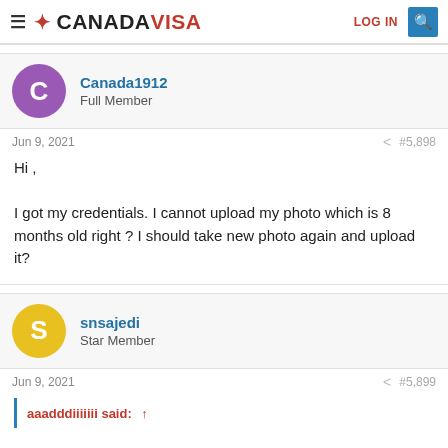CANADAVISA | LOG IN
Canada1912
Full Member
Jun 9, 2021  #5,898
Hi ,

I got my credentials. I cannot upload my photo which is 8 months old right ? I should take new photo again and upload it?
snsajedi
Star Member
Jun 9, 2021  #5,899
aaadddiiiiiii said: